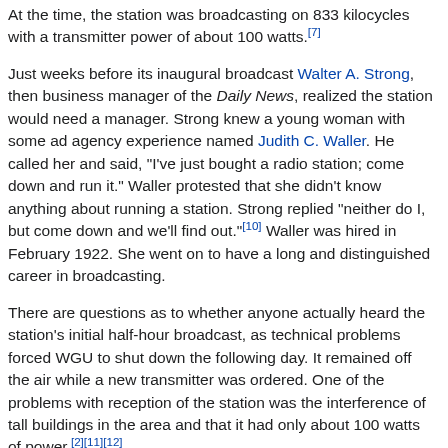At the time, the station was broadcasting on 833 kilocycles with a transmitter power of about 100 watts.[7]
Just weeks before its inaugural broadcast Walter A. Strong, then business manager of the Daily News, realized the station would need a manager. Strong knew a young woman with some ad agency experience named Judith C. Waller. He called her and said, "I've just bought a radio station; come down and run it." Waller protested that she didn't know anything about running a station. Strong replied "neither do I, but come down and we'll find out."[10] Waller was hired in February 1922. She went on to have a long and distinguished career in broadcasting.
There are questions as to whether anyone actually heard the station's initial half-hour broadcast, as technical problems forced WGU to shut down the following day. It remained off the air while a new transmitter was ordered. One of the problems with reception of the station was the interference of tall buildings in the area and that it had only about 100 watts of power.[2][11][12]
The City of Chicago also operated its own radio station with similar call letters, WBU, sharing a frequency with Westinghouse's KYW, which began in Chicago the year before.[13][14][15] In an attempt to avoid confusion with the city's station, WGU was assigned the new call letters WMAQ, and to improve reception, its